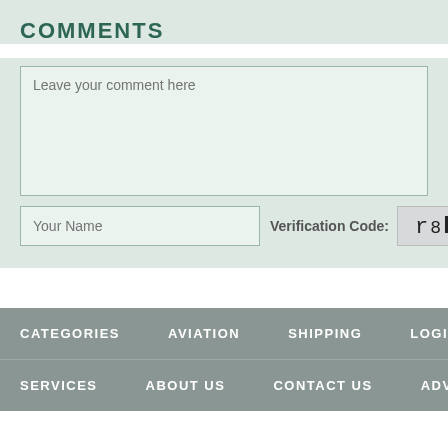COMMENTS
Leave your comment here
Your Name
Verification Code: r8P4
CATEGORIES  AVIATION  SHIPPING  LOGISTICS  LAW &
SERVICES  ABOUT US  CONTACT US  ADVERTISING